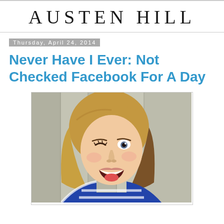AUSTEN HILL
Thursday, April 24, 2014
Never Have I Ever: Not Checked Facebook For A Day
[Figure (photo): A woman with blonde hair laughing and winking, wearing a navy blue and white striped shirt, photographed against a wooden plank background]